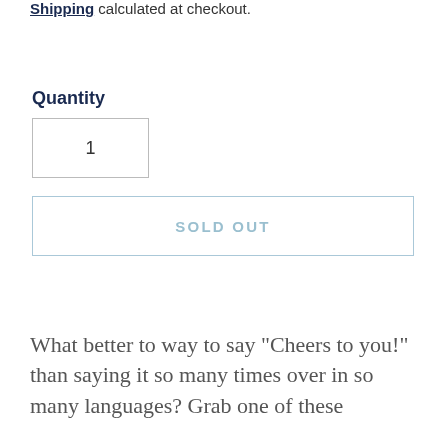Shipping calculated at checkout.
Quantity
1
SOLD OUT
What better to way to say "Cheers to you!" than saying it so many times over in so many languages? Grab one of these